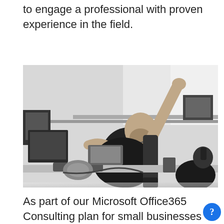to engage a professional with proven experience in the field.
[Figure (photo): Black and white office photo of a man sitting at a desk with computers and equipment, stretching his arms above his head and smiling.]
As part of our Microsoft Office365 Consulting plan for small businesses in Crystal Lake, we